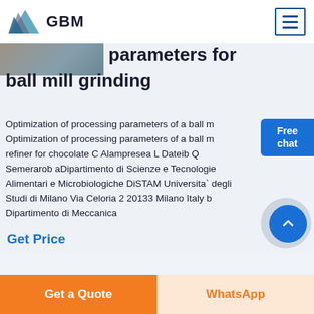GBM
parameters for ball mill grinding
Optimization of processing parameters of a ball mill refiner for chocolate C Alampresea L Dateib Q Semerarob aDipartimento di Scienze e Tecnologie Alimentari e Microbiologiche DiSTAM Universita` degli Studi di Milano Via Celoria 2 20133 Milano Italy b Dipartimento di Meccanica
Get Price